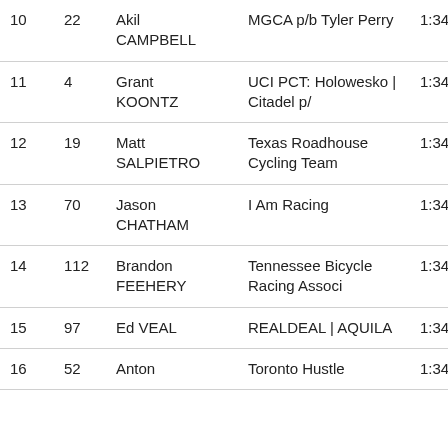| Pos | No | Name | Team | Time | Gap |
| --- | --- | --- | --- | --- | --- |
| 10 | 22 | Akil CAMPBELL | MGCA p/b Tyler Perry | 1:34:34. | s.t. |
| 11 | 4 | Grant KOONTZ | UCI PCT: Holowesko | Citadel p/ | 1:34:34. | s.t. |
| 12 | 19 | Matt SALPIETRO | Texas Roadhouse Cycling Team | 1:34:34. | s.t. |
| 13 | 70 | Jason CHATHAM | I Am Racing | 1:34:35. | s.t. |
| 14 | 112 | Brandon FEEHERY | Tennessee Bicycle Racing Associ | 1:34:35. | s.t. |
| 15 | 97 | Ed VEAL | REALDEAL | AQUILA | 1:34:35. | s.t. |
| 16 | 52 | Anton | Toronto Hustle | 1:34:35. | s.t. |